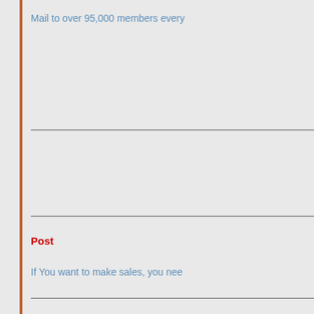Mail to over 95,000 members every
Post
If You want to make sales, you nee